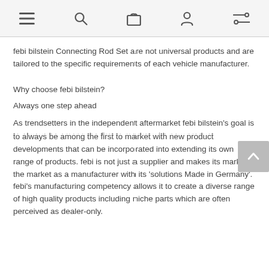navigation icons: menu, search, bag, account, filter
febi bilstein Connecting Rod Set are not universal products and are tailored to the specific requirements of each vehicle manufacturer.
Why choose febi bilstein?
Always one step ahead
As trendsetters in the independent aftermarket febi bilstein's goal is to always be among the first to market with new product developments that can be incorporated into extending its own range of products. febi is not just a supplier and makes its mark on the market as a manufacturer with its 'solutions Made in Germany'. febi's manufacturing competency allows it to create a diverse range of high quality products including niche parts which are often perceived as dealer-only.